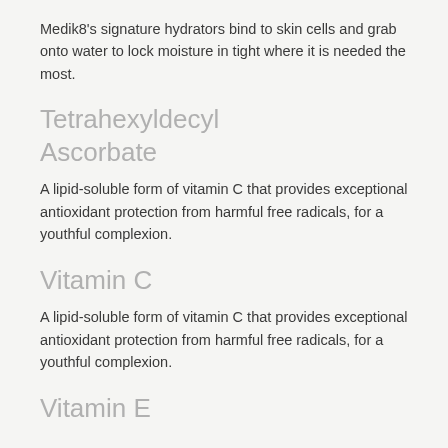Medik8's signature hydrators bind to skin cells and grab onto water to lock moisture in tight where it is needed the most.
Tetrahexyldecyl Ascorbate
A lipid-soluble form of vitamin C that provides exceptional antioxidant protection from harmful free radicals, for a youthful complexion.
Vitamin C
A lipid-soluble form of vitamin C that provides exceptional antioxidant protection from harmful free radicals, for a youthful complexion.
Vitamin E